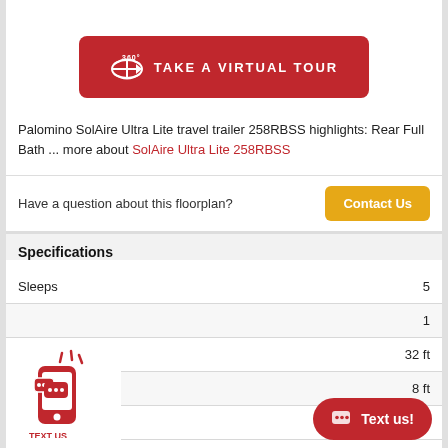[Figure (other): Red button with 360° icon: TAKE A VIRTUAL TOUR]
Palomino SolAire Ultra Lite travel trailer 258RBSS highlights: Rear Full Bath ... more about SolAire Ultra Lite 258RBSS
Have a question about this floorplan? Contact Us
Specifications
| Specification | Value |
| --- | --- |
| Sleeps | 5 |
| [Slide-outs] | 1 |
| [Ext Length] | 32 ft |
| [Ext Width] | 8 ft |
| Ext Height | 11 ft 1 in |